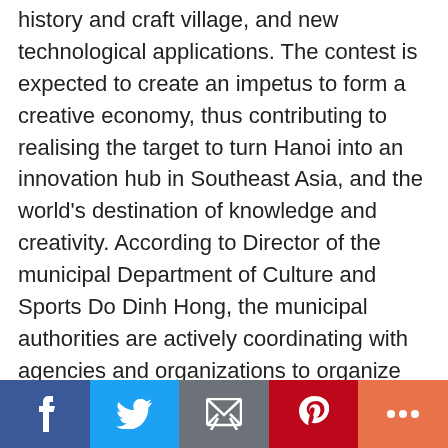history and craft village, and new technological applications. The contest is expected to create an impetus to form a creative economy, thus contributing to realising the target to turn Hanoi into an innovation hub in Southeast Asia, and the world's destination of knowledge and creativity. According to Director of the municipal Department of Culture and Sports Do Dinh Hong, the municipal authorities are actively coordinating with agencies and organizations to organize contests and events towards a network of young designers and valuable products that can contribute to the capital city's creative industry. At the contest launching ceremony, … [Read more...]